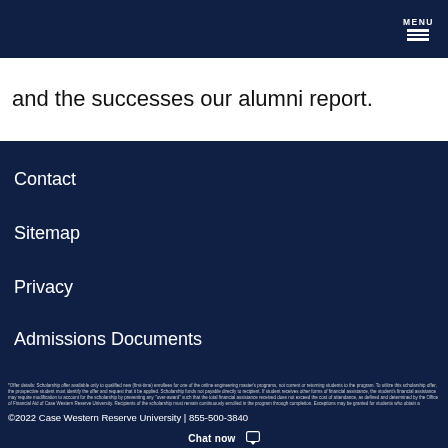MENU
and the successes our alumni report.
Contact
Sitemap
Privacy
Admissions Documents
*Offer details: Scholarship offer available only to qualified new (first-time) enrollees for one of the online engineering master's programs, not current or returning students to the program. To utilize this scholarship offer, the prospective student must identify the offer and request that it be applied. Scholarship funds not payable directly to recipient. If student receives other forms of financial assistance, the student's financial assistance may require modification to account for the scholarship by preventing any 'over-award' such that the total financial assistance received does not exceed the cost of attendance, as defined and determined by the Office of Financial Aid of Case Western Reserve University. Recipients of the scholarship must remain continuously enrolled in the program through completion. Exceptions may be granted for students who obtain a university-approved leave of absence. Students receiving the scholarship must maintain satisfactory academic progress at all times for scholarship to remain in effect. This scholarship offer may be revised, rescinded or terminated at any time. All admissions and scholarship decisions of Case Western Reserve University are final.
©2022 Case Western Reserve University | 855-500-3840
Chat now